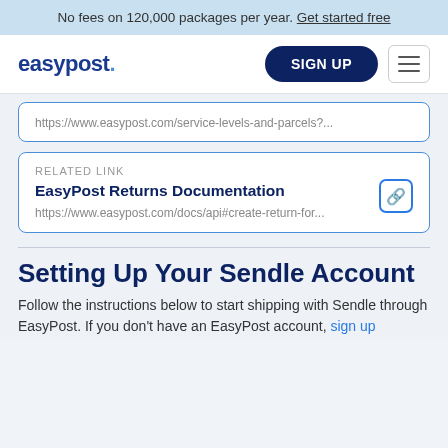No fees on 120,000 packages per year. Get started free
[Figure (logo): EasyPost logo with SIGN UP button and hamburger menu]
https://www.easypost.com/service-levels-and-parcels?...
RELATED LINK
EasyPost Returns Documentation
https://www.easypost.com/docs/api#create-return-for...
Setting Up Your Sendle Account
Follow the instructions below to start shipping with Sendle through EasyPost. If you don't have an EasyPost account, sign up